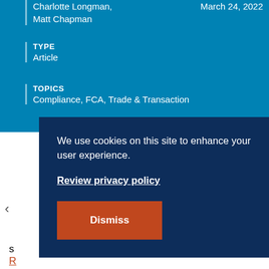Charlotte Longman, Matt Chapman
March 24, 2022
TYPE
Article
TOPICS
Compliance, FCA, Trade & Transaction
We use cookies on this site to enhance your user experience.
Review privacy policy
Dismiss
obligations under MiFIR / EMIR.